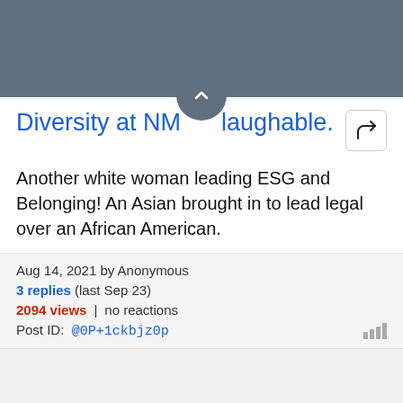Diversity at NM... laughable.
Another white woman leading ESG and Belonging! An Asian brought in to lead legal over an African American.
Aug 14, 2021 by Anonymous
3 replies (last Sep 23)
2094 views | no reactions
Post ID: @0P+1ckbjz0p